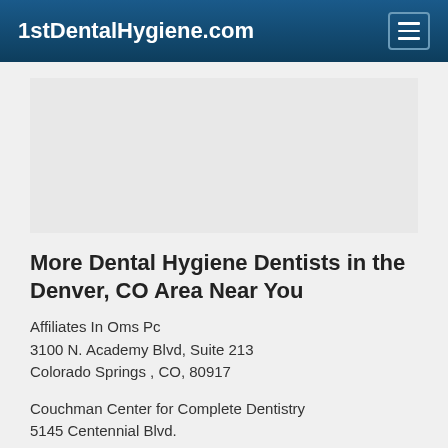1stDentalHygiene.com
More Dental Hygiene Dentists in the Denver, CO Area Near You
Affiliates In Oms Pc
3100 N. Academy Blvd, Suite 213
Colorado Springs , CO, 80917
Couchman Center for Complete Dentistry
5145 Centennial Blvd.
Colorado Springs, CO, 80919
Doctor - Activate Your Free 1stDentalHygiene Placeholder